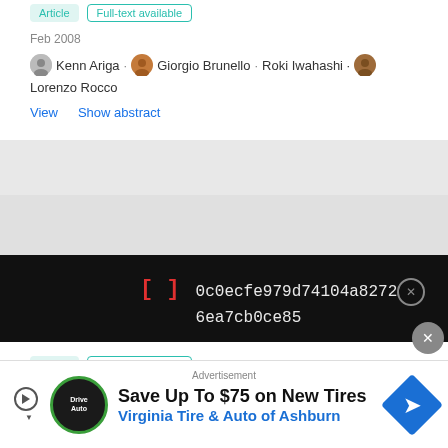Article  Full-text available
Feb 2008
Kenn Ariga · Giorgio Brunello · Roki Iwahashi · Lorenzo Rocco
View   Show abstract
[Figure (screenshot): Black overlay panel showing red bracket icon, hash string '0c0ecfe979d74104a82726ea7cb0ce85' and close button]
Article  Full-text available
Structure of Expert Players' Activity during Competitive
Advertisement
[Figure (illustration): Advertisement banner: Save Up To $75 on New Tires - Virginia Tire & Auto of Ashburn]